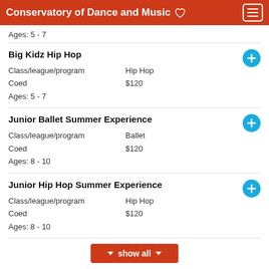Conservatory of Dance and Music
Ages: 5 - 7
Big Kidz Hip Hop
Class/league/program   Hip Hop
Coed   $120
Ages: 5 - 7
Junior Ballet Summer Experience
Class/league/program   Ballet
Coed   $120
Ages: 8 - 10
Junior Hip Hop Summer Experience
Class/league/program   Hip Hop
Coed   $120
Ages: 8 - 10
show all